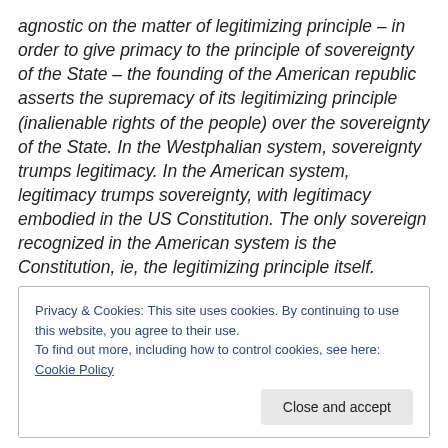agnostic on the matter of legitimizing principle – in order to give primacy to the principle of sovereignty of the State – the founding of the American republic asserts the supremacy of its legitimizing principle (inalienable rights of the people) over the sovereignty of the State. In the Westphalian system, sovereignty trumps legitimacy. In the American system, legitimacy trumps sovereignty, with legitimacy embodied in the US Constitution. The only sovereign recognized in the American system is the Constitution, ie, the legitimizing principle itself.
Privacy & Cookies: This site uses cookies. By continuing to use this website, you agree to their use. To find out more, including how to control cookies, see here: Cookie Policy
Close and accept